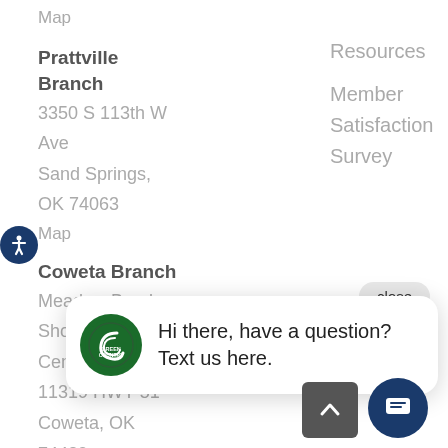Map
Resources
Member
Satisfaction
Survey
Prattville Branch
3350 S 113th W Ave
Sand Springs,
OK 74063
Map
Coweta Branch
Meadow Brook
Shopping
Center
11319 HWY 51
Coweta, OK
74429
Hi there, have a question? Text us here.